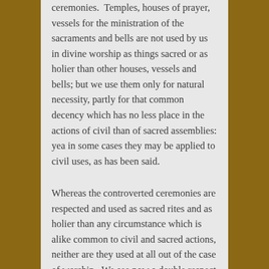ceremonies. Temples, houses of prayer, vessels for the ministration of the sacraments and bells are not used by us in divine worship as things sacred or as holier than other houses, vessels and bells; but we use them only for natural necessity, partly for that common decency which has no less place in the actions of civil than of sacred assemblies: yea in some cases they may be applied to civil uses, as has been said.
Whereas the controverted ceremonies are respected and used as sacred rites and as holier than any circumstance which is alike common to civil and sacred actions, neither are they used at all out of the case of worship. We see now a double respect wherefore our